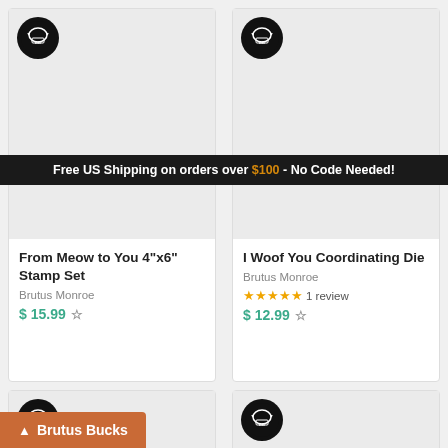Free US Shipping on orders over $100 - No Code Needed!
[Figure (screenshot): Product card: From Meow to You 4"x6" Stamp Set with gray placeholder image and Brutus Monroe badge]
From Meow to You 4"x6" Stamp Set
Brutus Monroe
$ 15.99
[Figure (screenshot): Product card: I Woof You Coordinating Die with gray placeholder image and Brutus Monroe badge]
I Woof You Coordinating Die
Brutus Monroe
★★★★★ 1 review
$ 12.99
[Figure (screenshot): Bottom-left product card with gray placeholder image and Brutus Monroe badge]
[Figure (screenshot): Bottom-right product card with gray placeholder image and Brutus Monroe badge]
Brutus Bucks